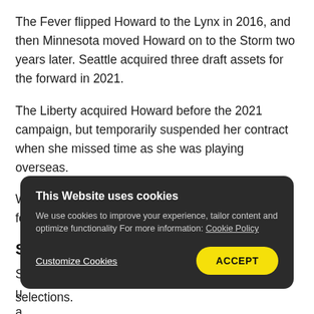The Fever flipped Howard to the Lynx in 2016, and then Minnesota moved Howard on to the Storm two years later. Seattle acquired three draft assets for the forward in 2021.
The Liberty acquired Howard before the 2021 campaign, but temporarily suspended her contract when she missed time as she was playing overseas.
With just one All-Star appearance on her CV, the former Florida State star has a lot to prove in 2022.
Sue Bird - $221,450
S
u
a
g
selections.
This Website uses cookies
We use cookies to improve your experience, tailor content and optimize functionality For more information: Cookie Policy
Customize Cookies   ACCEPT